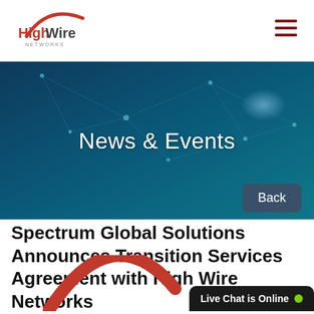HighWire Networks
[Figure (illustration): News & Events hero banner with dark blue network/tech background and globe silhouette]
News & Events
Back
Spectrum Global Solutions Announces Transition Services Agreement with High Wire Networks
[Figure (logo): HighWire Networks logo arc (red) partially visible at bottom of page]
Live Chat is Online